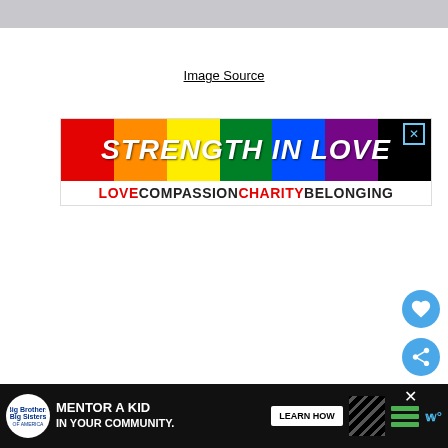[Figure (photo): Top gray image strip partially visible at top of page]
Image Source
[Figure (infographic): Strength in Love advertisement banner with rainbow background showing STRENGTH IN LOVE in large bold white italic text, with tagline LOVE COMPASSION CHARITY BELONGING below in red and black bold text, and an X close button in top right corner]
[Figure (infographic): Heart (favorite) button - blue circle with white heart icon]
[Figure (infographic): Share button - blue circle with white share icon]
[Figure (infographic): What's Next panel showing a thumbnail and text: WHAT'S NEXT with arrow, Vulture Bee: The Meat-...]
[Figure (infographic): Bottom advertisement bar for Big Brothers Big Sisters of America: MENTOR A KID IN YOUR COMMUNITY. with Learn How button]